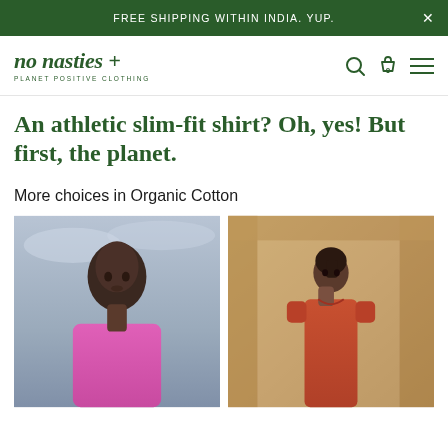FREE SHIPPING WITHIN INDIA. YUP.
[Figure (logo): no nasties + logo with tagline PLANET POSITIVE CLOTHING]
An athletic slim-fit shirt? Oh, yes! But first, the planet.
More choices in Organic Cotton
[Figure (photo): Male model wearing a pink t-shirt against a cloudy sky background]
[Figure (photo): Female model wearing a terracotta/rust colored shirt dress in front of stone architecture]